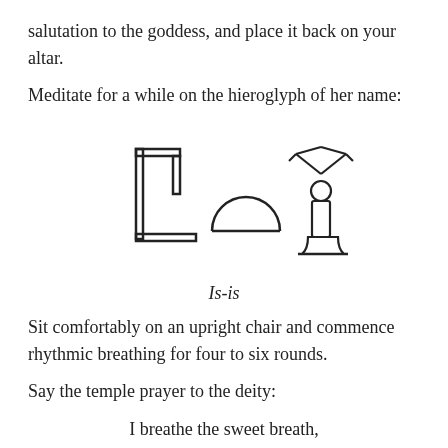salutation to the goddess, and place it back on your altar.
Meditate for a while on the hieroglyph of her name:
[Figure (illustration): Egyptian hieroglyphs spelling Is-is: a throne/seat symbol on the left, a semicircle in the middle, and a seated figure with raised arms (kite/vulture wings) on the right.]
Is-is
Sit comfortably on an upright chair and commence rhythmic breathing for four to six rounds.
Say the temple prayer to the deity:
I breathe the sweet breath,
Which comes forth from thy mouth.
I behold thy beauty every day.
It is my desire
That I may hear thy sweet voice